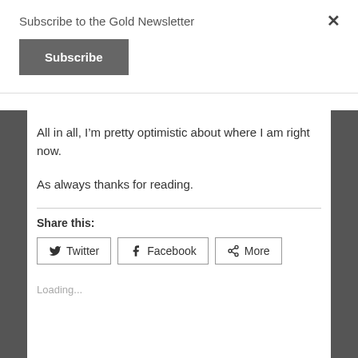Subscribe to the Gold Newsletter
Subscribe
All in all, I'm pretty optimistic about where I am right now.
As always thanks for reading.
Share this:
Twitter  Facebook  More
Loading...